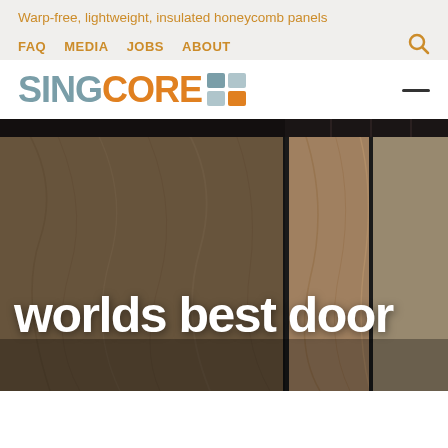Warp-free, lightweight, insulated honeycomb panels
FAQ  MEDIA  JOBS  ABOUT
SINGCORE
[Figure (screenshot): Hero image of large wooden panel doors/walls with dark metal frames, with white bold text overlay reading 'worlds best door']
worlds best door